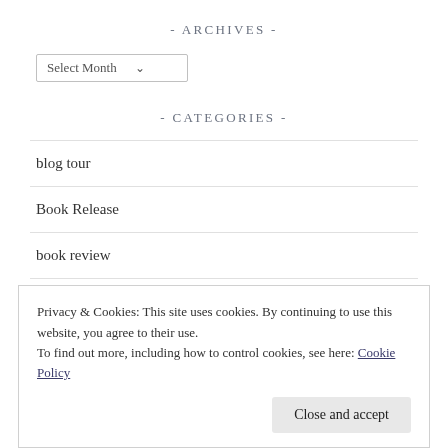- ARCHIVES -
[Figure (screenshot): A dropdown select input labeled 'Select Month' with a chevron arrow]
- CATEGORIES -
blog tour
Book Release
book review
Cover Reveal
Privacy & Cookies: This site uses cookies. By continuing to use this website, you agree to their use.
To find out more, including how to control cookies, see here: Cookie Policy
Close and accept